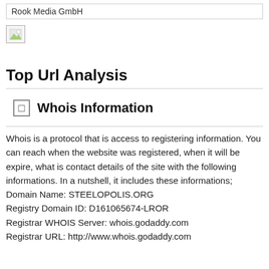Rook Media GmbH
[Figure (other): Broken/missing image placeholder (small icon with green/white colors)]
Top Url Analysis
Whois Information
Whois is a protocol that is access to registering information. You can reach when the website was registered, when it will be expire, what is contact details of the site with the following informations. In a nutshell, it includes these informations; Domain Name: STEELOPOLIS.ORG Registry Domain ID: D161065674-LROR Registrar WHOIS Server: whois.godaddy.com Registrar URL: http://www.whois.godaddy.com